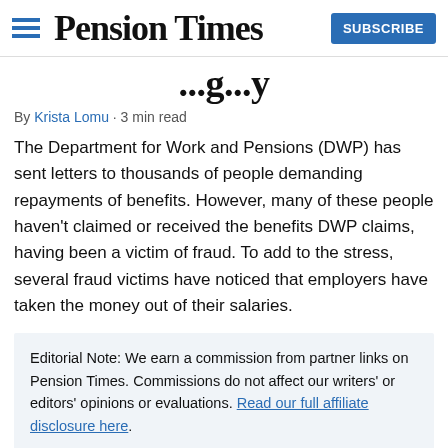Pension Times | SUBSCRIBE
...g...y (partial title visible)
By Krista Lomu · 3 min read
The Department for Work and Pensions (DWP) has sent letters to thousands of people demanding repayments of benefits. However, many of these people haven't claimed or received the benefits DWP claims, having been a victim of fraud. To add to the stress, several fraud victims have noticed that employers have taken the money out of their salaries.
Editorial Note: We earn a commission from partner links on Pension Times. Commissions do not affect our writers' or editors' opinions or evaluations. Read our full affiliate disclosure here.
The Department for Work and Pensions (DWP) has sent